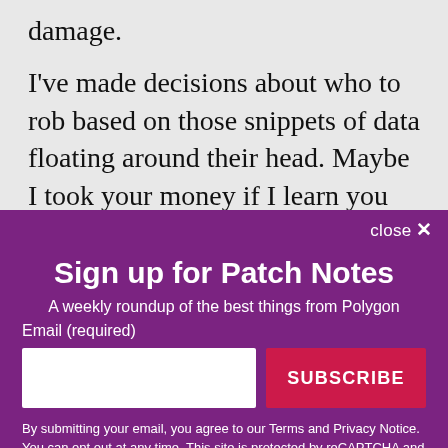damage. I've made decisions about who to rob based on those snippets of data floating around their head. Maybe I took your money if I learn you had political views with which I don't agree. Maybe my trigger finger slips if I knew you were involved with more heinous
close ✕
Sign up for Patch Notes
A weekly roundup of the best things from Polygon
Email (required)
SUBSCRIBE
By submitting your email, you agree to our Terms and Privacy Notice. You can opt out at any time. This site is protected by reCAPTCHA and the Google Privacy Policy and Terms of Service apply.